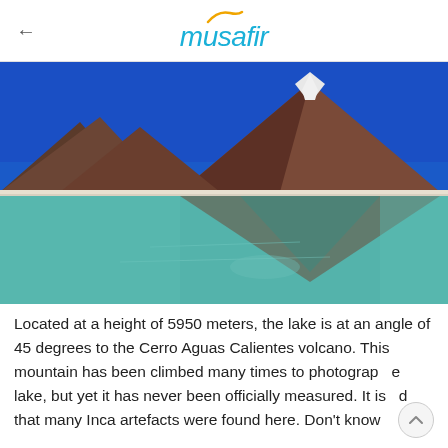musafir
[Figure (photo): A snow-capped volcano (Cerro Aguas Calientes) reflected in a turquoise high-altitude lake, against a deep blue sky.]
Located at a height of 5950 meters, the lake is at an angle of 45 degrees to the Cerro Aguas Calientes volcano. This mountain has been climbed many times to photograph the lake, but yet it has never been officially measured. It is said that many Inca artefacts were found here. Don't know